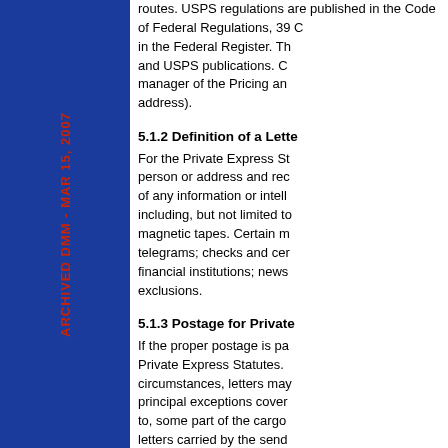[Figure (other): Blue sidebar with ARCHIVED DMM - MAR 15, 2007 text rotated vertically in red]
routes. USPS regulations are published in the Code of Federal Regulations, 39 CFR parts 310 and 320, and in the Federal Register. They are also in DMM literature and USPS publications. Copies are available from the manager of the Pricing and Classification Service Center (address).
5.1.2 Definition of a Letter
For the Private Express Statutes, a letter is addressed to a person or address and records or communicates any information or intelligence of any kind, including, but not limited to, documents, printed matter, magnetic tapes. Certain matter is excluded, such as telegrams; checks and certain other documents sent by financial institutions; newspapers, and other exclusions.
5.1.3 Postage for Private Carriers
If the proper postage is paid, letters are not subject to Private Express Statutes. Also, under certain circumstances, letters may be carried without postage. The principal exceptions cover letters relating to, or attached to, some part of the cargo of the carrier's conveyance; letters carried by the sender or a bona fide agent or employees; and letters carried in an extremely urgent have been carried in the m
5.1.4 Suspensions of Pri
Limited suspensions of the